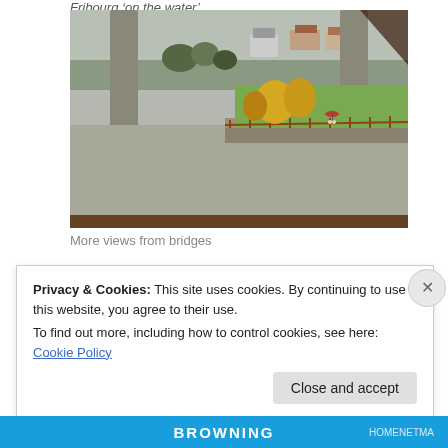Fribourg 'on the water'
[Figure (photo): River scene viewed from a bridge in Fribourg, Switzerland. Shows a swollen river, bridge pillars, autumn trees with yellow foliage, a pedestrian path along the riverbank with a wooden fence, two people walking under a red umbrella, and green parkland with houses and hills in the background. The foreground shows a wooden windowsill/frame from inside a building looking out.]
More views from bridges
Privacy & Cookies: This site uses cookies. By continuing to use this website, you agree to their use.
To find out more, including how to control cookies, see here: Cookie Policy
Close and accept